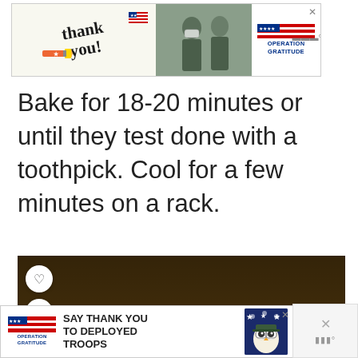[Figure (other): Advertisement banner for Operation Gratitude with 'Thank you!' handwritten text, a soldier photo, and Operation Gratitude logo]
Bake for 18-20 minutes or until they test done with a toothpick. Cool for a few minutes on a rack.
[Figure (photo): Photo of baked muffins cooling on a wire rack, with heart and share buttons overlaid on the left side, and a 'What's Next' panel showing Beef & Sweet Potato Dinn...]
[Figure (other): Advertisement banner for Operation Gratitude: 'SAY THANK YOU TO DEPLOYED TROOPS' with logo and mascot image]